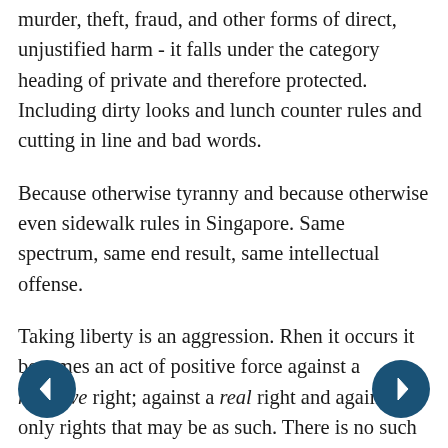murder, theft, fraud, and other forms of direct, unjustified harm - it falls under the category heading of private and therefore protected. Including dirty looks and lunch counter rules and cutting in line and bad words.
Because otherwise tyranny and because otherwise even sidewalk rules in Singapore. Same spectrum, same end result, same intellectual offense.
Taking liberty is an aggression. Rhen it occurs it becomes an act of positive force against a negative right; against a real right and against the only rights that may be as such. There is no such right to force an offender to remove gum from your heel and there is no such right to force particular wording in icing on cakes.
Yes, this principle includes the right to withhold service for any reason at any time and in any place if aggression and force are to be avoided, and aggression and force are naturally outlawed in any Western civilization and system of justice going back for the span of Western liberal